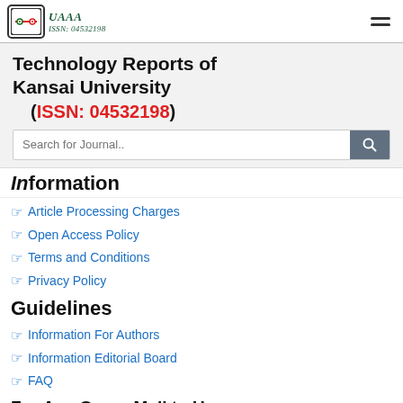Technology Reports of Kansai University – ISSN: 04532198
Technology Reports of Kansai University (ISSN: 04532198)
Information
Article Processing Charges
Open Access Policy
Terms and Conditions
Privacy Policy
Guidelines
Information For Authors
Information Editorial Board
FAQ
For Any Query Mail to Us